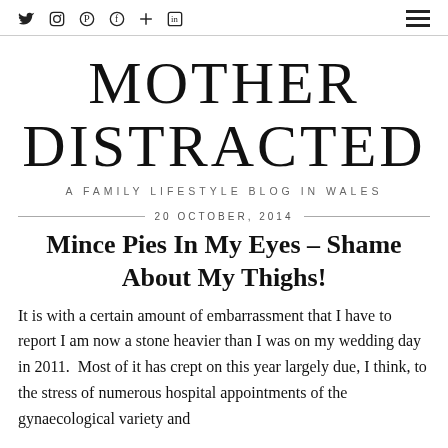Social icons: Twitter, Instagram, Pinterest, Facebook, Plus, LinkedIn | Hamburger menu
MOTHER DISTRACTED
A FAMILY LIFESTYLE BLOG IN WALES
20 OCTOBER, 2014
Mince Pies In My Eyes – Shame About My Thighs!
It is with a certain amount of embarrassment that I have to report I am now a stone heavier than I was on my wedding day in 2011. Most of it has crept on this year largely due, I think, to the stress of numerous hospital appointments of the gynaecological variety and